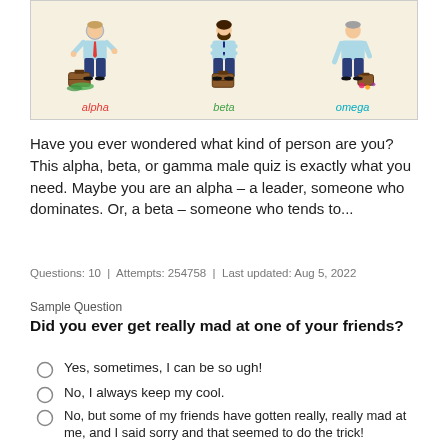[Figure (illustration): Three cartoon male figures labeled alpha (red label), beta (green label), and omega (cyan label), each holding a briefcase, set against a beige background.]
Have you ever wondered what kind of person are you? This alpha, beta, or gamma male quiz is exactly what you need. Maybe you are an alpha – a leader, someone who dominates. Or, a beta – someone who tends to...
Questions: 10  |  Attempts: 254758  |  Last updated: Aug 5, 2022
Sample Question
Did you ever get really mad at one of your friends?
Yes, sometimes, I can be so ugh!
No, I always keep my cool.
No, but some of my friends have gotten really, really mad at me, and I said sorry and that seemed to do the trick!
Yes, and I regret it.